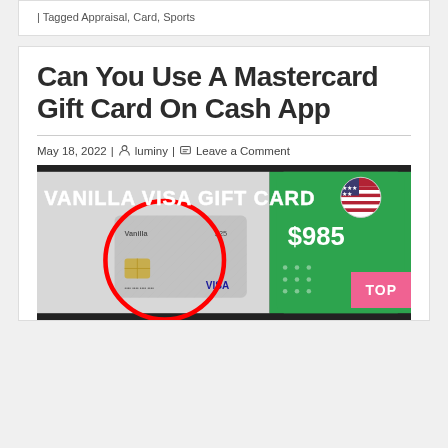| Tagged Appraisal, Card, Sports
Can You Use A Mastercard Gift Card On Cash App
May 18, 2022 | luminy | Leave a Comment
[Figure (photo): Vanilla Visa Gift Card image next to a Cash App screen showing $985 balance, with a red circle highlighting the card and a US flag emoji overlay.]